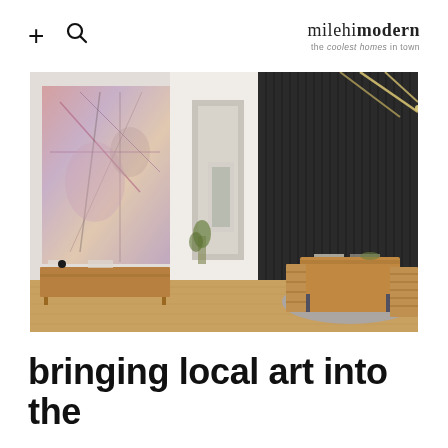+ [search icon] | milehimodern — the coolest homes in town
[Figure (photo): Interior of a modern home showing a large abstract pink/purple painting on the left wall, a wooden credenza beneath it, a hallway leading to bright windows in the center, and a dark charcoal vertical-slat accent wall on the right with a wooden dining table and slatted chairs on a blue rug.]
bringing local art into the